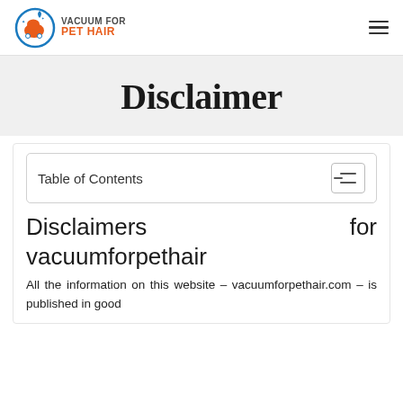VACUUM FOR PET HAIR
Disclaimer
Table of Contents
Disclaimers for vacuumforpethair
All the information on this website – vacuumforpethair.com – is published in good